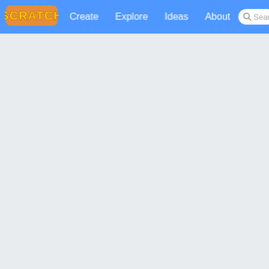Scratch - Create, Explore, Ideas, About
[Figure (screenshot): Scratch website navigation bar with logo (SCRATCH in orange letters), navigation links: Create, Explore, Ideas, About, and a search bar]
[Figure (illustration): A light blue background card with a hand-drawn black outline cat illustration and large bold letters 'ME' visible on the right side]
Profile Banners -
[Figure (photo): A banner image with iridescent blue dragon scale pattern background. White text reads '1+ YEARS ON SC' at top and 'Centu' in cursive white script at bottom]